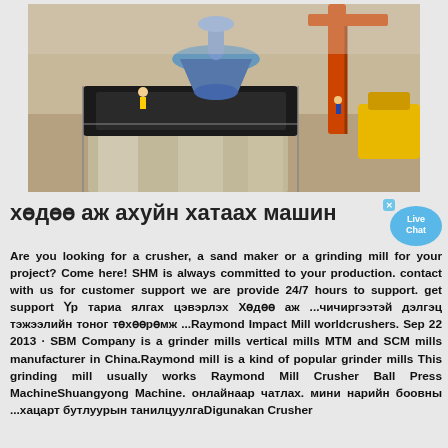[Figure (photo): Industrial construction site showing a large cone crusher or mill machine being installed, with workers visible and a crane/excavator in the background. Outdoor setting with sandy/dusty ground.]
хөдөө аж ахуйн хатаах машин
Are you looking for a crusher, a sand maker or a grinding mill for your project? Come here! SHM is always committed to your production. contact with us for customer support we are provide 24/7 hours to support. get support Үр тариа ялгах цэвэрлэх Хөдөө аж ...чичиргээтэй дэлгэц тэжээлийн тоног төхөөрөмж ...Raymond Impact Mill worldcrushers. Sep 22 2013 · SBM Company is a grinder mills vertical mills MTM and SCM mills manufacturer in China.Raymond mill is a kind of popular grinder mills This grinding mill usually works Raymond Mill Crusher Ball Press MachineShuangyong Machine. онлайнаар чатлах. мини нарийн боовны ...хацарт бутлуурын танилцуулгаDigunakan Crusher